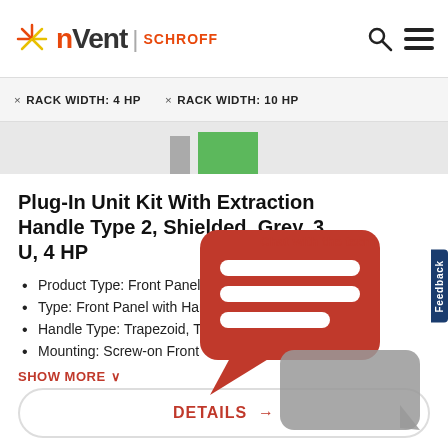[Figure (logo): nVent SCHROFF logo with sunburst icon on left and search/menu icons on right]
× RACK WIDTH: 4 HP  × RACK WIDTH: 10 HP
[Figure (photo): Product image strip showing green and grey plug-in unit panels]
Plug-In Unit Kit With Extraction Handle Type 2, Shielded, Grey, 3 U, 4 HP
Product Type: Front Panel
Type: Front Panel with Handle
Handle Type: Trapezoid, Type 2
Mounting: Screw-on Front
SHOW MORE ∨
[Figure (illustration): Red chat bubble overlay with 'Chat with the team' text and grey secondary chat bubble]
DETAILS →